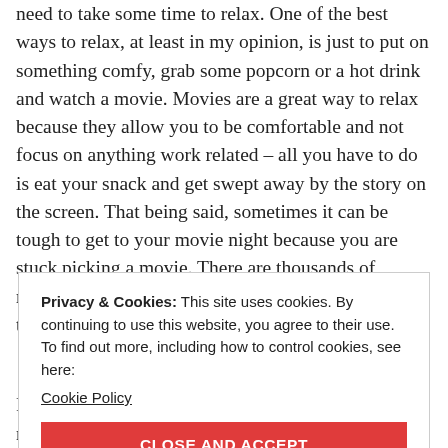need to take some time to relax. One of the best ways to relax, at least in my opinion, is just to put on something comfy, grab some popcorn or a hot drink and watch a movie. Movies are a great way to relax because they allow you to be comfortable and not focus on anything work related – all you have to do is eat your snack and get swept away by the story on the screen. That being said, sometimes it can be tough to get to your movie night because you are stuck picking a movie. There are thousands of movies out there in different genres, and sometimes that magnitude of choice is just overwhelming.
Privacy & Cookies: This site uses cookies. By continuing to use this website, you agree to their use. To find out more, including how to control cookies, see here: Cookie Policy
CLOSE AND ACCEPT
P.S. – these are just suggestions of mine. They may not be